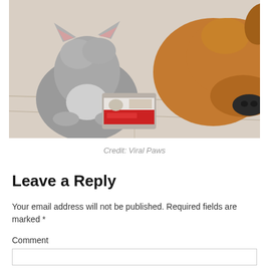[Figure (photo): A grey kitten eating from a small pet food can with a cat photo on the label, while a brown dog watches closely from the right side. Scene is on a light tile floor.]
Credit: Viral Paws
Leave a Reply
Your email address will not be published. Required fields are marked *
Comment